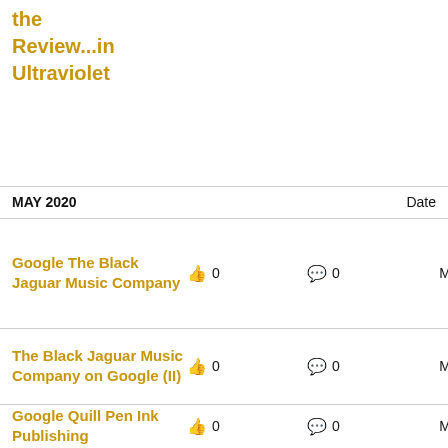the Review...in Ultraviolet
MAY 2020   Date
Google The Black Jaguar Music Company   👍 0   💬 0   May. 24, 2020
The Black Jaguar Music Company on Google (II)   👍 0   💬 0   May. 22, 2020
Google Quill Pen Ink Publishing   👍 0   💬 0   May. 22, 2020